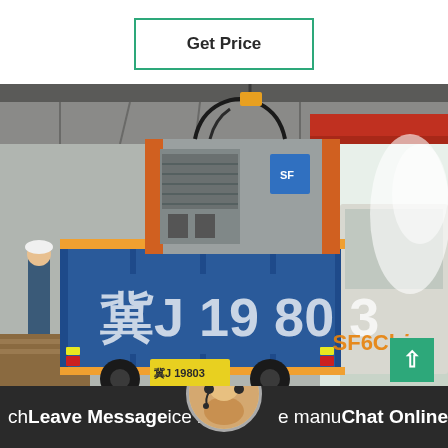Get Price
[Figure (photo): Industrial warehouse scene showing a blue dump truck loaded with a large grey industrial machine/equipment (likely SF6 gas recovery/processing unit). A worker in a hard hat stands to the left. The warehouse has a red overhead crane beam visible. License plate reads 19803. SF6China watermark visible in bottom right of image.]
ch Leave Message ice ma e manu Chat Online